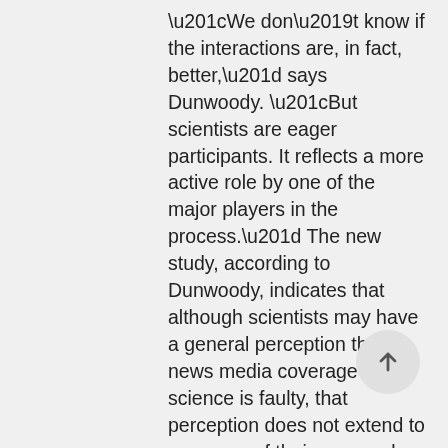“We don’t know if the interactions are, in fact, better,” says Dunwoody. “But scientists are eager participants. It reflects a more active role by one of the major players in the process.” The new study, according to Dunwoody, indicates that although scientists may have a general perception that news media coverage of science is faulty, that perception does not extend to coverage of their own work. “They often view their own work as being covered well, but that doesn’t influence the larger perception.” The involvement of scientists in active public communication is widely viewed as critical, especially when controversial issues are at play or important policy is being forged. Coverage of such things as stem cell research, infectious disease, nuclear power, nanotechnology and biotechnology frequently entails